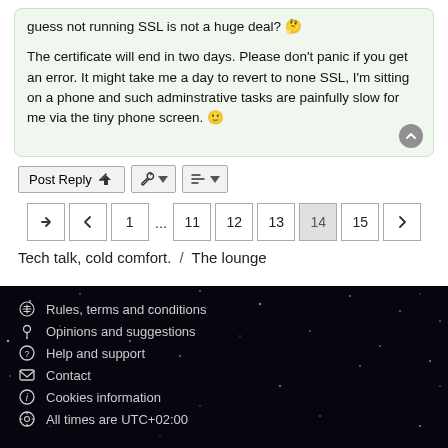guess not running SSL is not a huge deal? 🤔

The certificate will end in two days. Please don't panic if you get an error. It might take me a day to revert to none SSL, I'm sitting on a phone and such adminstrative tasks are painfully slow for me via the tiny phone screen. 🙂
Post Reply | [tools] | [sort]
Pagination: ↪ ‹ 1 ... 11 12 13 14 15 ›
Tech talk, cold comfort. / The lounge
Rules, terms and conditions
Opinions and suggestions
Help and support
Contact
Cookies information
All times are UTC+02:00